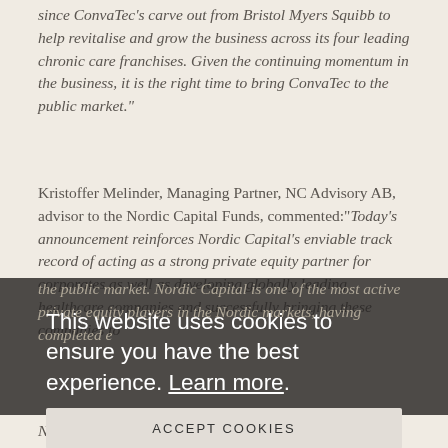since ConvaTec's carve out from Bristol Myers Squibb to help revitalise and grow the business across its four leading chronic care franchises. Given the continuing momentum in the business, it is the right time to bring ConvaTec to the public market."
Kristoffer Melinder, Managing Partner, NC Advisory AB, advisor to the Nordic Capital Funds, commented:"Today's announcement reinforces Nordic Capital's enviable track record of acting as a strong private equity partner for corporates as well as developing globally leading healthcare companies and successfully bringing these companies to the public market. Nordic Capital is one of the most active private equity players in the Nordic markets, having completed e[...]mber of trade sales in[...] s IPOs have performed well[...] g both an absolute and relative outperformance in the long and short term."
Nordic Capital has been instrumental in strengthening the